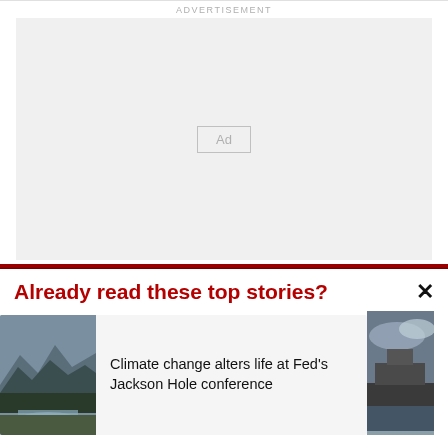ADVERTISEMENT
[Figure (other): Advertisement placeholder box with 'Ad' label in center]
Already read these top stories?
[Figure (photo): Mountain landscape with river/stream in foreground, trees, overcast sky]
Climate change alters life at Fed's Jackson Hole conference
[Figure (photo): Partial view of a large ship at sea with dramatic sky]